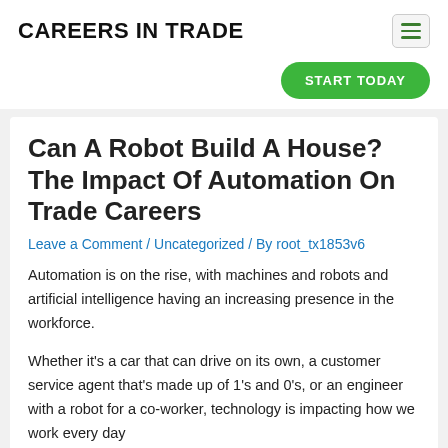CAREERS IN TRADE
[Figure (other): Hamburger menu icon button with three green horizontal lines in a rounded rectangle]
[Figure (other): Green rounded START TODAY button]
Can A Robot Build A House? The Impact Of Automation On Trade Careers
Leave a Comment / Uncategorized / By root_tx1853v6
Automation is on the rise, with machines and robots and artificial intelligence having an increasing presence in the workforce.
Whether it's a car that can drive on its own, a customer service agent that's made up of 1's and 0's, or an engineer with a robot for a co-worker, technology is impacting how we work every day